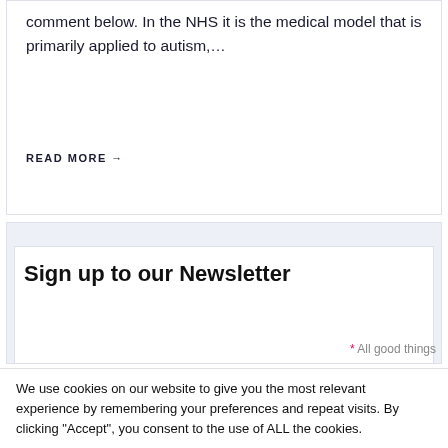comment below. In the NHS it is the medical model that is primarily applied to autism,…
READ MORE →
Sign up to our Newsletter
* All good things
We use cookies on our website to give you the most relevant experience by remembering your preferences and repeat visits. By clicking "Accept", you consent to the use of ALL the cookies.
Cookie settings
ACCEPT